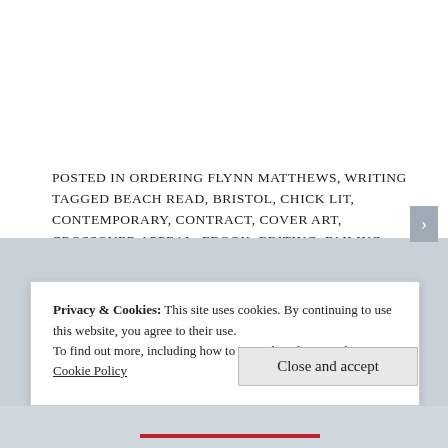POSTED IN ORDERING FLYNN MATTHEWS, WRITING TAGGED BEACH READ, BRISTOL, CHICK LIT, CONTEMPORARY, CONTRACT, COVER ART, CROSSOVER APPEAL, EBOOK, EDITING, FAILING FLYNN MATTHEWS, LONDON, MAY, ORDERING FLYNN MATTHEWS, PUBLISHER, ROME, SELF PUBLISHING, SOCIETY OF AUTHORS
Privacy & Cookies: This site uses cookies. By continuing to use this website, you agree to their use. To find out more, including how to control cookies, see here: Cookie Policy
Close and accept